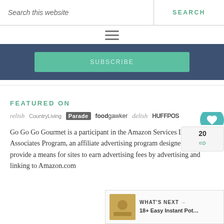Search this website | SEARCH
[Figure (screenshot): Hamburger menu icon (three horizontal lines)]
[Figure (screenshot): Dark blue banner with a teal/green button showing partially visible text]
FEATURED ON
[Figure (infographic): Row of publication logos: relish, CountryLiving, Parade, foodgawker, delish, HUFFPOST]
Go Go Go Gourmet is a participant in the Amazon Services LLC Associates Program, an affiliate advertising program designed to provide a means for sites to earn advertising fees by advertising and linking to Amazon.com